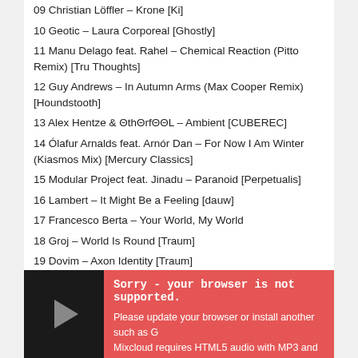09 Christian Löffler – Krone [Ki]
10 Geotic – Laura Corporeal [Ghostly]
11 Manu Delago feat. Rahel – Chemical Reaction (Pitto Remix) [Tru Thoughts]
12 Guy Andrews – In Autumn Arms (Max Cooper Remix) [Houndstooth]
13 Alex Hentze & ƎthƎrfƎƎL – Ambient [CUBEREC]
14 Ólafur Arnalds feat. Arnór Dan – For Now I Am Winter (Kiasmos Mix) [Mercury Classics]
15 Modular Project feat. Jinadu – Paranoid [Perpetualis]
16 Lambert – It Might Be a Feeling [dauw]
17 Francesco Berta – Your World, My World
18 Groj – World Is Round [Traum]
19 Dovim – Axon Identity [Traum]
Images by: http://flickr.com/photos/100842250@N02
[Figure (screenshot): Mixcloud audio player widget with dark background and play button. Red error overlay saying: Sorry - your browser is not supported. Please update your browser or install another such as... Mixcloud requires HTML5 audio with MP3 and MP4 sup...]